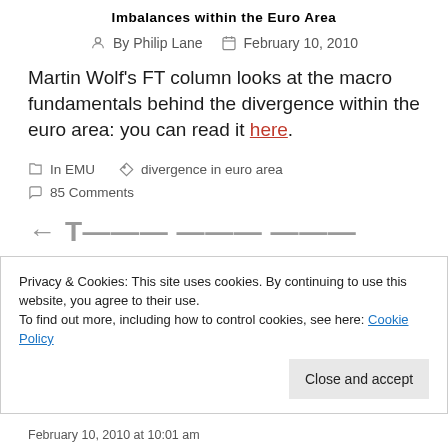Imbalances within the Euro Area
By Philip Lane   February 10, 2010
Martin Wolf's FT column looks at the macro fundamentals behind the divergence within the euro area: you can read it here.
In EMU   divergence in euro area
85 Comments
Privacy & Cookies: This site uses cookies. By continuing to use this website, you agree to their use.
To find out more, including how to control cookies, see here: Cookie Policy
Close and accept
February 10, 2010 at 10:01 am